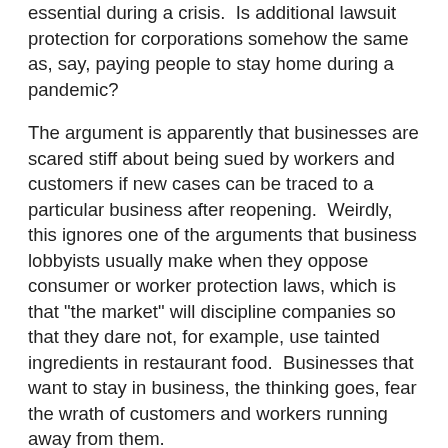essential during a crisis.  Is additional lawsuit protection for corporations somehow the same as, say, paying people to stay home during a pandemic?
The argument is apparently that businesses are scared stiff about being sued by workers and customers if new cases can be traced to a particular business after reopening.  Weirdly, this ignores one of the arguments that business lobbyists usually make when they oppose consumer or worker protection laws, which is that "the market" will discipline companies so that they dare not, for example, use tainted ingredients in restaurant food.  Businesses that want to stay in business, the thinking goes, fear the wrath of customers and workers running away from them.
That theory is tendentious at best, but it is based on the obvious truth that businesses need people to trust them enough to become their customers or work for them.  A business that currently worries about whether customers will come back, or whether workers will risk working for them (or, gulp, actually try to unionize), has a strong incentive to convince people that the business is safe in the post-